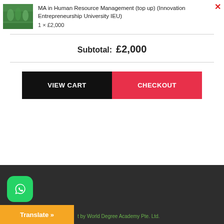[Figure (photo): Small product thumbnail image showing people running outdoors on a sports track]
MA in Human Resource Management (top up) (Innovation Entrepreneurship University IEU)
1 × £2,000
Subtotal: £2,000
VIEW CART
CHECKOUT
[Figure (logo): WhatsApp icon button - green rounded square with white phone/chat icon]
Translate »
t by World Degree Academy Pte. Ltd.